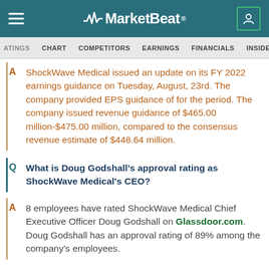MarketBeat
ATINGS  CHART  COMPETITORS  EARNINGS  FINANCIALS  INSIDER TRADES
A  ShockWave Medical issued an update on its FY 2022 earnings guidance on Tuesday, August, 23rd. The company provided EPS guidance of for the period. The company issued revenue guidance of $465.00 million-$475.00 million, compared to the consensus revenue estimate of $448.64 million.
Q  What is Doug Godshall's approval rating as ShockWave Medical's CEO?
A  8 employees have rated ShockWave Medical Chief Executive Officer Doug Godshall on Glassdoor.com. Doug Godshall has an approval rating of 89% among the company's employees.